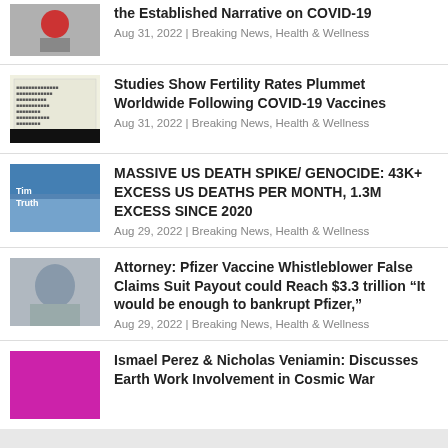the Established Narrative on COVID-19
Aug 31, 2022 | Breaking News, Health & Wellness
Studies Show Fertility Rates Plummet Worldwide Following COVID-19 Vaccines
Aug 31, 2022 | Breaking News, Health & Wellness
MASSIVE US DEATH SPIKE/ GENOCIDE: 43K+ EXCESS US DEATHS PER MONTH, 1.3M EXCESS SINCE 2020
Aug 29, 2022 | Breaking News, Health & Wellness
Attorney: Pfizer Vaccine Whistleblower False Claims Suit Payout could Reach $3.3 trillion “It would be enough to bankrupt Pfizer,”
Aug 29, 2022 | Breaking News, Health & Wellness
Ismael Perez & Nicholas Veniamin: Discusses Earth Work Involvement in Cosmic War